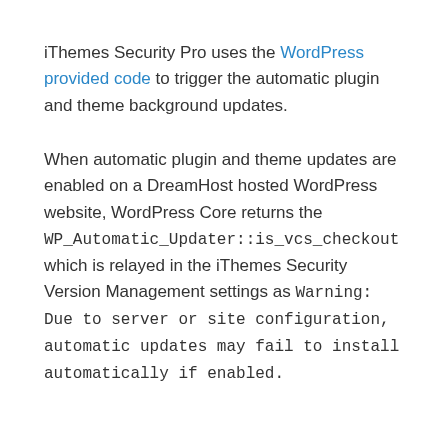iThemes Security Pro uses the WordPress provided code to trigger the automatic plugin and theme background updates.
When automatic plugin and theme updates are enabled on a DreamHost hosted WordPress website, WordPress Core returns the WP_Automatic_Updater::is_vcs_checkout which is relayed in the iThemes Security Version Management settings as Warning: Due to server or site configuration, automatic updates may fail to install automatically if enabled.